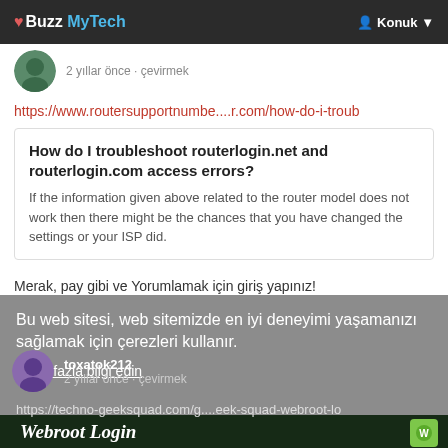❤ Buzz MyTech   👤 Konuk ▼
2 yıllar önce · çevirmek
https://www.routersupportnumbe....r.com/how-do-i-troub
How do I troubleshoot routerlogin.net and routerlogin.com access errors?
If the information given above related to the router model does not work then there might be the chances that you have changed the settings or your ISP did.
Merak, pay gibi ve Yorumlamak için giriş yapınız!
Bu web sitesi, web sitemizde en iyi deneyimi yaşamanızı sağlamak için çerezleri kullanır.
Daha fazla bilgi edin
toxatok212
2 yıllar önce · çevirmek
https://techno-geeksquad.com/g....eek-squad-webroot-lo
Anladım!
Webroot Login